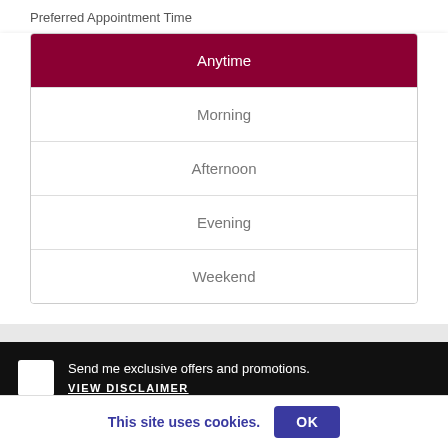Preferred Appointment Time
Anytime (selected)
Morning
Afternoon
Evening
Weekend
Send me exclusive offers and promotions.
VIEW DISCLAIMER
PRIVACY POLICY   CONTACT US
This site uses cookies.  OK